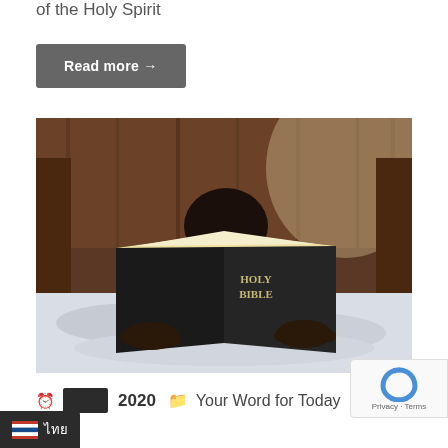of the Holy Spirit
Read more →
[Figure (photo): A child lying on a bed reading a Holy Bible, face hidden behind the open book with wooden wall background]
2020   Your Word for Today
ไทย